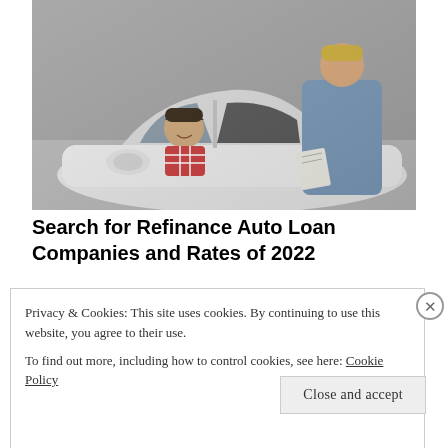[Figure (photo): Two men at a white car in a dealership — one sitting in the driver's seat (dark hair, plaid shirt, smiling), one standing outside leaning in (blond hair, blue jacket, holding papers).]
Search for Refinance Auto Loan Companies and Rates of 2022
Privacy & Cookies: This site uses cookies. By continuing to use this website, you agree to their use.
To find out more, including how to control cookies, see here: Cookie Policy